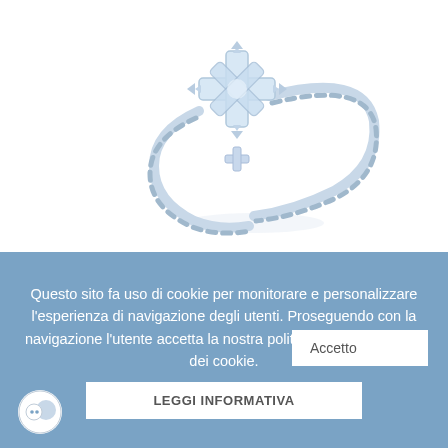[Figure (photo): Silver snowflake ring with twisted band, photographed on white background]
Questo sito fa uso di cookie per monitorare e personalizzare l'esperienza di navigazione degli utenti. Proseguendo con la navigazione l'utente accetta la nostra politica riguardante l'uso dei cookie.
Accetto
LEGGI INFORMATIVA